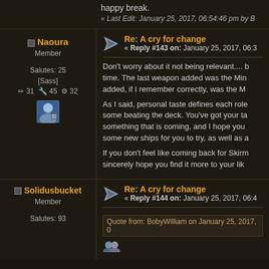happy break.
« Last Edit: January 25, 2017, 06:54:46 pm by B...
Naoura
Member
Salutes: 25
[Sass]
✏ 31  🔧 45  ⚙ 32
Re: A cry for change
« Reply #143 on: January 25, 2017, 06:3...
Don't worry about it not being relevant.... time. The last weapon added was the Min... added, if I remember correctly, was the M...
As I said, personal taste defines each rol... some beating the deck. You've got your ta... something that is coming, and I hope you... some new ships for you to try, as well as a...
If you don't feel like coming back for Skirm... sincerely hope you find it more to your lik...
Solidusbucket
Member
Salutes: 93
Re: A cry for change
« Reply #144 on: January 25, 2017, 06:4...
Quote from: BobyWilliam on January 25, 2017, 0...